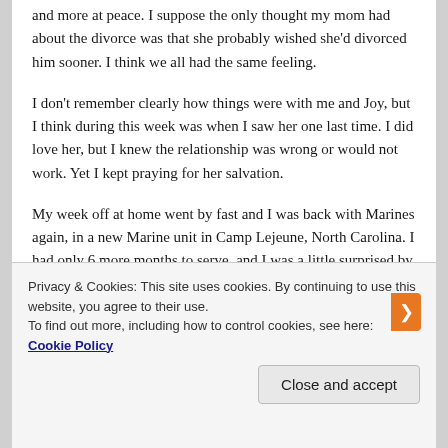and more at peace. I suppose the only thought my mom had about the divorce was that she probably wished she'd divorced him sooner. I think we all had the same feeling.
I don't remember clearly how things were with me and Joy, but I think during this week was when I saw her one last time. I did love her, but I knew the relationship was wrong or would not work. Yet I kept praying for her salvation.
My week off at home went by fast and I was back with Marines again, in a new Marine unit in Camp Lejeune, North Carolina. I had only 6 more months to serve, and I was a little surprised by what they had me do: more combat training. Why? Why was I put in a training unit
Privacy & Cookies: This site uses cookies. By continuing to use this website, you agree to their use.
To find out more, including how to control cookies, see here: Cookie Policy